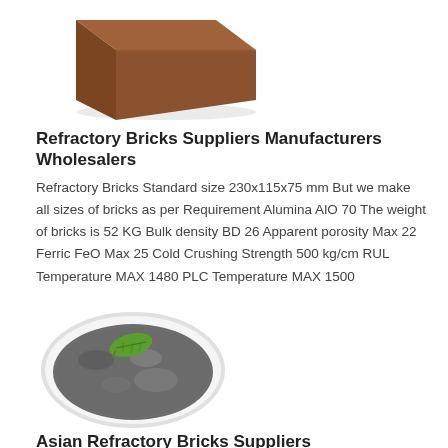[Figure (photo): A brown refractory brick shown from an angle on a white background]
Refractory Bricks Suppliers Manufacturers Wholesalers
Refractory Bricks Standard size 230x115x75 mm But we make all sizes of bricks as per Requirement Alumina AlO 70 The weight of bricks is 52 KG Bulk density BD 26 Apparent porosity Max 22 Ferric FeO Max 25 Cold Crushing Strength 500 kg/cm RUL Temperature MAX 1480 PLC Temperature MAX 1500
[Figure (photo): A white plate containing dark grey granular powder/grit with a green leaf on top]
Asian Refractory Bricks Suppliers